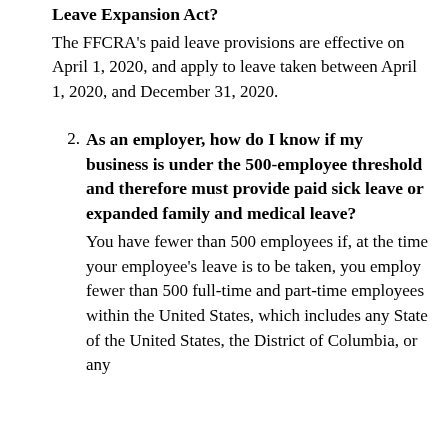Leave Expansion Act?
The FFCRA's paid leave provisions are effective on April 1, 2020, and apply to leave taken between April 1, 2020, and December 31, 2020.
2. As an employer, how do I know if my business is under the 500-employee threshold and therefore must provide paid sick leave or expanded family and medical leave? You have fewer than 500 employees if, at the time your employee's leave is to be taken, you employ fewer than 500 full-time and part-time employees within the United States, which includes any State of the United States, the District of Columbia, or any